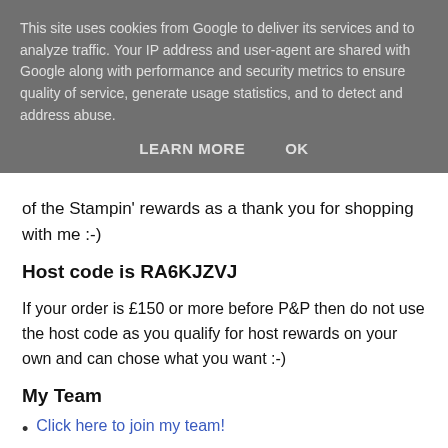This site uses cookies from Google to deliver its services and to analyze traffic. Your IP address and user-agent are shared with Google along with performance and security metrics to ensure quality of service, generate usage statistics, and to detect and address abuse.
LEARN MORE   OK
of the Stampin' rewards as a thank you for shopping with me :-)
Host code is RA6KJZVJ
If your order is £150 or more before P&P then do not use the host code as you qualify for host rewards on your own and can chose what you want :-)
My Team
Click here to join my team!